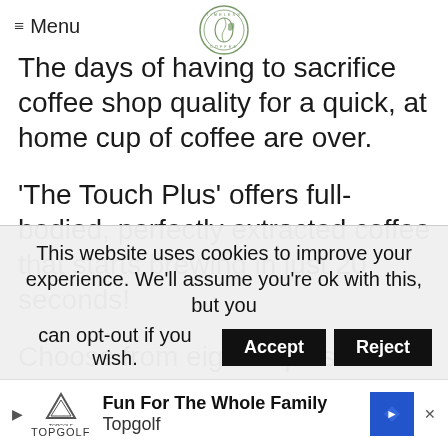≡ Menu
[Figure (logo): Timeless Coffee circular logo with coffee bean and leaf design]
The days of having to sacrifice coffee shop quality for a quick, at home cup of coffee are over.
'The Touch Plus' offers full-bodied, perfectly extracted coffee that starts brewing in just 20 seconds!
Choose from eight cups sizes and enjoy your coffee, just the way you like it. Perfect extraction is all about temperature and
This website uses cookies to improve your experience. We'll assume you're ok with this, but you can opt-out if you wish.
[Figure (infographic): Topgolf advertisement banner: Fun For The Whole Family - Topgolf, with arrow navigation and blue diamond direction icon]